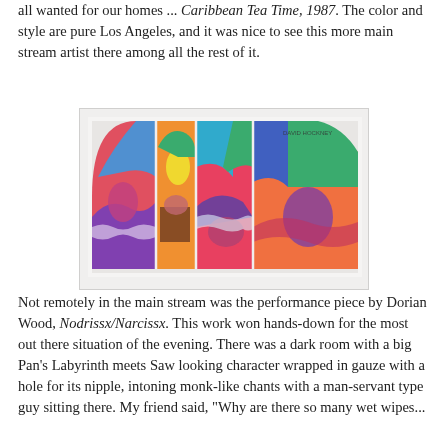all wanted for our homes ... Caribbean Tea Time, 1987. The color and style are pure Los Angeles, and it was nice to see this more main stream artist there among all the rest of it.
[Figure (photo): A colorful accordion-fold artist book displayed open, showing vibrant painted panels with bold shapes in orange, pink, green, blue, and purple. The artist signature 'David Hockney' is visible in the upper right panel.]
Not remotely in the main stream was the performance piece by Dorian Wood, Nodrissx/Narcissx. This work won hands-down for the most out there situation of the evening. There was a dark room with a big Pan's Labyrinth meets Saw looking character wrapped in gauze with a hole for its nipple, intoning monk-like chants with a man-servant type guy sitting there. My friend said, "Why are there so many wet wipes...